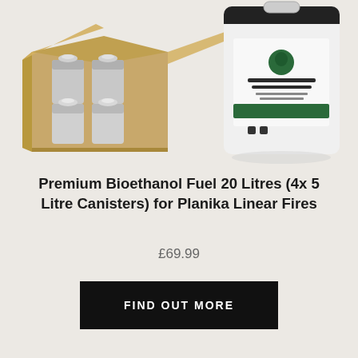[Figure (photo): Product photo showing an open cardboard box containing multiple silver bioethanol fuel canisters on the left, and a single white 5-litre canister with a green and black Premium Bioethanol Fuel label on the right, on a light beige background.]
Premium Bioethanol Fuel 20 Litres (4x 5 Litre Canisters) for Planika Linear Fires
£69.99
FIND OUT MORE